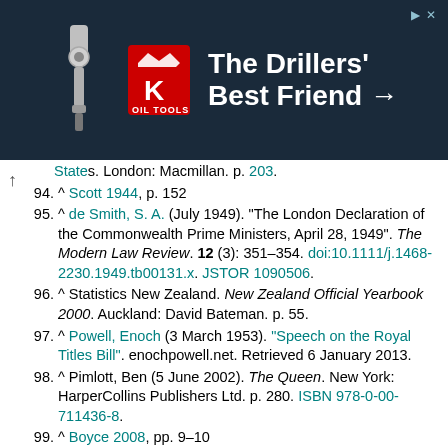[Figure (other): Advertisement banner for King Oil Tools: 'The Drillers' Best Friend →' with dark blue background, drilling equipment icon, and King logo]
States. London: Macmillan. p. 203.
94. ^ Scott 1944, p. 152
95. ^ de Smith, S. A. (July 1949). "The London Declaration of the Commonwealth Prime Ministers, April 28, 1949". The Modern Law Review. 12 (3): 351–354. doi:10.1111/j.1468-2230.1949.tb00131.x. JSTOR 1090506.
96. ^ Statistics New Zealand. New Zealand Official Yearbook 2000. Auckland: David Bateman. p. 55.
97. ^ Powell, Enoch (3 March 1953). "Speech on the Royal Titles Bill". enochpowell.net. Retrieved 6 January 2013.
98. ^ Pimlott, Ben (5 June 2002). The Queen. New York: HarperCollins Publishers Ltd. p. 280. ISBN 978-0-00-711436-8.
99. ^ Boyce 2008, pp. 9–10
100. ^ Boyce 2008, p. 11
101. ^ "Address to the United Nations General Assembly". Royal Household. 6 July 2010. Archived from the original on 11 July 2010. Retrieved 6 July 2010.
102. ^ "Jamaica plans to become a republic". Sky News Australia. 31 December 2011. Retrieved 31 December